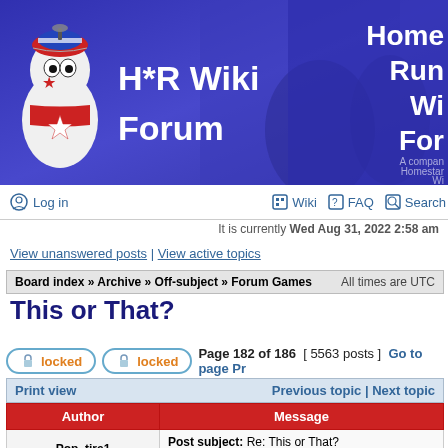[Figure (screenshot): H*R Wiki Forum banner with mascot character and forum title]
Home Run Wiki Forum — A companion to Homestar Runner Wiki
Log in | Wiki | FAQ | Search
It is currently Wed Aug 31, 2022 2:58 am
View unanswered posts | View active topics
Board index » Archive » Off-subject » Forum Games    All times are UTC
This or That?
locked  locked  Page 182 of 186  [ 5563 posts ]  Go to page Pr
Print view    Previous topic | Next topic
| Author | Message |
| --- | --- |
| Pop_tire1 | Post subject: Re: This or That?
Posted: Mon Jun 30, 2008 4:41 am |